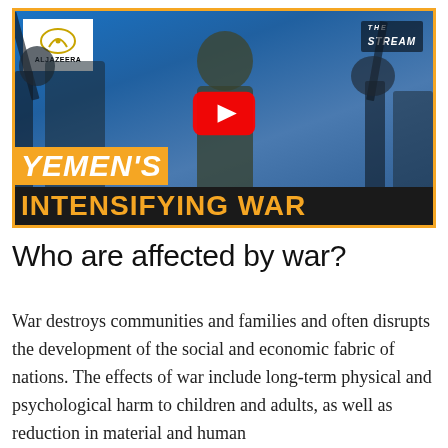[Figure (screenshot): Al Jazeera 'The Stream' YouTube video thumbnail showing armed fighters with text overlay 'YEMEN'S INTENSIFYING WAR' with orange and black background text, YouTube play button in center, Al Jazeera logo top left, The Stream logo top right]
Who are affected by war?
War destroys communities and families and often disrupts the development of the social and economic fabric of nations. The effects of war include long-term physical and psychological harm to children and adults, as well as reduction in material and human